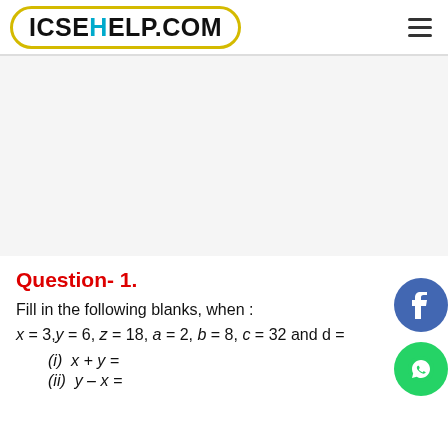ICSEHELP.COM
Question- 1.
Fill in the following blanks, when :
x = 3,y = 6, z = 18, a = 2, b = 8, c = 32 and d =
(i)  x + y =
(ii)  y – x =